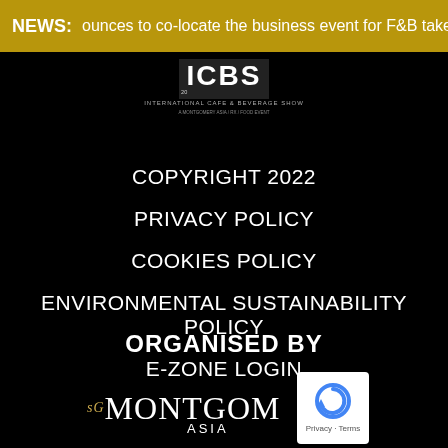NEWS: ounces to co-locate the business event for F&B takeaway &
[Figure (logo): ICBS International Cafe & Beverage Show logo]
COPYRIGHT 2022
PRIVACY POLICY
COOKIES POLICY
ENVIRONMENTAL SUSTAINABILITY POLICY
E-ZONE LOGIN
ORGANISED BY
[Figure (logo): Montgomery Group Asia logo]
[Figure (logo): reCAPTCHA badge with Privacy - Terms text]